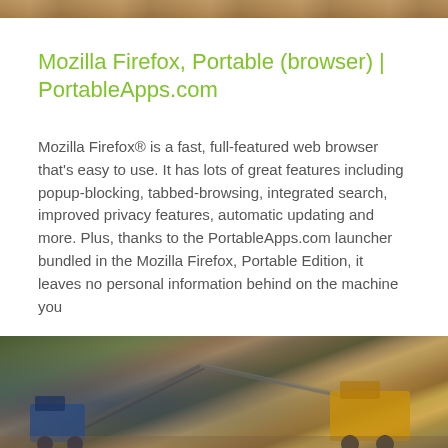[Figure (photo): Top strip of a photo showing earthy/sandy terrain, partially cropped]
Mozilla Firefox, Portable (browser) | PortableApps.com
Mozilla Firefox® is a fast, full-featured web browser that's easy to use. It has lots of great features including popup-blocking, tabbed-browsing, integrated search, improved privacy features, automatic updating and more. Plus, thanks to the PortableApps.com launcher bundled in the Mozilla Firefox, Portable Edition, it leaves no personal information behind on the machine you
[Figure (photo): Photo of industrial machinery or quarry equipment with blue and yellow machines on dirt/gravel ground]